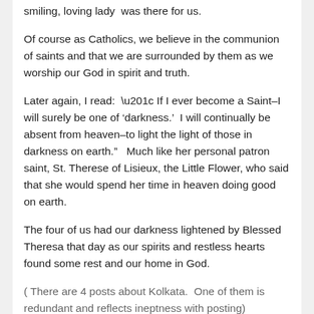smiling, loving lady  was there for us.
Of course as Catholics, we believe in the communion of saints and that we are surrounded by them as we worship our God in spirit and truth.
Later again, I read:  “ If I ever become a Saint–I will surely be one of ‘darkness.’  I will continually be absent from heaven–to light the light of those in darkness on earth.”   Much like her personal patron saint, St. Therese of Lisieux, the Little Flower, who said that she would spend her time in heaven doing good on earth.
The four of us had our darkness lightened by Blessed Theresa that day as our spirits and restless hearts found some rest and our home in God.
( There are 4 posts about Kolkata.  One of them is redundant and reflects ineptness with posting)